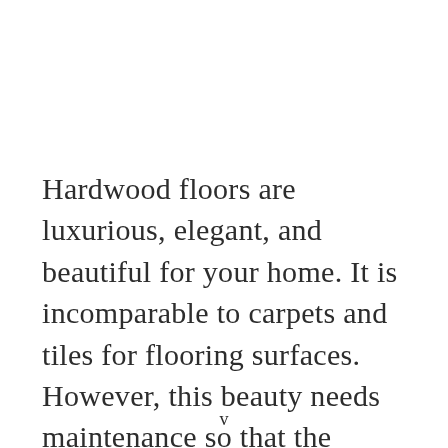Hardwood floors are luxurious, elegant, and beautiful for your home. It is incomparable to carpets and tiles for flooring surfaces. However, this beauty needs maintenance so that the hardwood
v